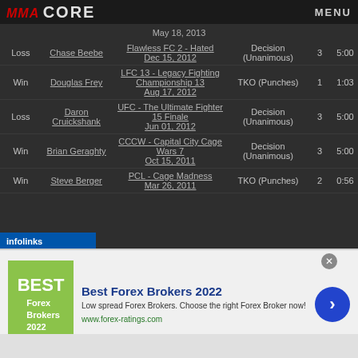MMA CORE MENU
May 18, 2013
| Result | Opponent | Event | Method | R | Time |
| --- | --- | --- | --- | --- | --- |
| Loss | Chase Beebe | Flawless FC 2 - Hated
Dec 15, 2012 | Decision (Unanimous) | 3 | 5:00 |
| Win | Douglas Frey | LFC 13 - Legacy Fighting Championship 13
Aug 17, 2012 | TKO (Punches) | 1 | 1:03 |
| Loss | Daron Cruickshank | UFC - The Ultimate Fighter 15 Finale
Jun 01, 2012 | Decision (Unanimous) | 3 | 5:00 |
| Win | Brian Geraghty | CCCW - Capital City Cage Wars 7
Oct 15, 2011 | Decision (Unanimous) | 3 | 5:00 |
| Win | Steve Berger | PCL - Cage Madness
Mar 26, 2011 | TKO (Punches) | 2 | 0:56 |
[Figure (other): Advertisement: Best Forex Brokers 2022 banner ad with infolinks label]